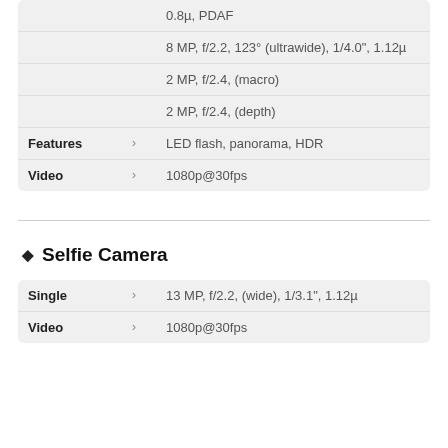| Label |  | Value |
| --- | --- | --- |
|  |  | 0.8µ, PDAF |
|  |  | 8 MP, f/2.2, 123° (ultrawide), 1/4.0", 1.12µ |
|  |  | 2 MP, f/2.4, (macro) |
|  |  | 2 MP, f/2.4, (depth) |
| Features | > | LED flash, panorama, HDR |
| Video | > | 1080p@30fps |
◆ Selfie Camera
| Label |  | Value |
| --- | --- | --- |
| Single | > | 13 MP, f/2.2, (wide), 1/3.1", 1.12µ |
| Video | > | 1080p@30fps |